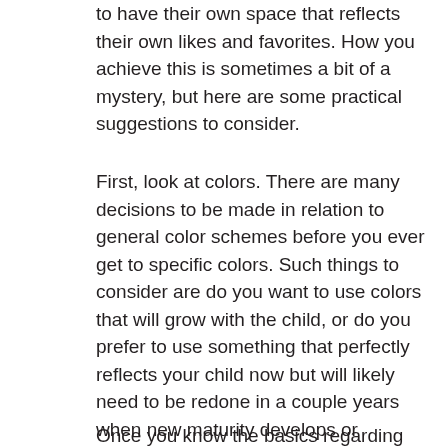to have their own space that reflects their own likes and favorites. How you achieve this is sometimes a bit of a mystery, but here are some practical suggestions to consider.
First, look at colors. There are many decisions to be made in relation to general color schemes before you ever get to specific colors. Such things to consider are do you want to use colors that will grow with the child, or do you prefer to use something that perfectly reflects your child now but will likely need to be redone in a couple years when new maturity develops or favorites change? A more neutral color can last much longer than something that is unique. Also, do you want to use one color for the walls and add other colors through accessories, or do you want to have two wall colors (an accent wall, for instance)?
Once you know the basics regarding your color choices,